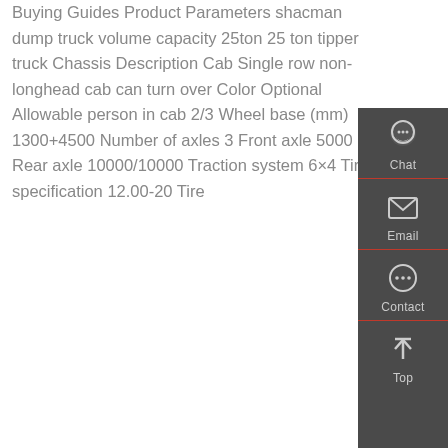Buying Guides Product Parameters shacman dump truck volume capacity 25ton 25 ton tipper truck Chassis Description Cab Single row non-longhead cab can turn over Color Optional Allowable person in cab 2/3 Wheel base (mm) 1300+4500 Number of axles 3 Front axle 5000 Rear axle 10000/10000 Traction system 6×4 Tire specification 12.00-20 Tire
[Figure (infographic): Sidebar with chat, email, contact, and top navigation icons on dark grey background]
Get a Quote